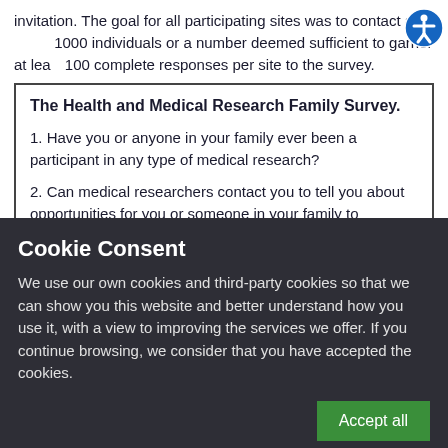invitation. The goal for all participating sites was to contact at least 1000 individuals or a number deemed sufficient to garner at least 100 complete responses per site to the survey.
The Health and Medical Research Family Survey.
1. Have you or anyone in your family ever been a participant in any type of medical research?
2. Can medical researchers contact you to tell you about opportunities for you or someone in your family to participate
Cookie Consent
We use our own cookies and third-party cookies so that we can show you this website and better understand how you use it, with a view to improving the services we offer. If you continue browsing, we consider that you have accepted the cookies.